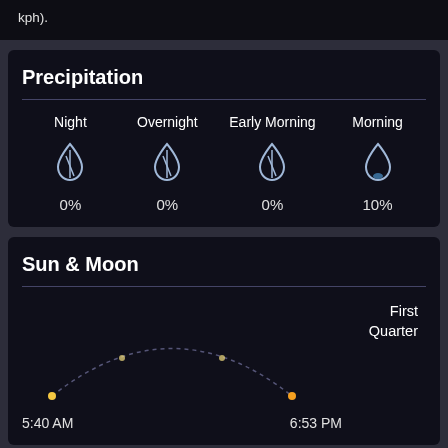kph).
Precipitation
| Night | Overnight | Early Morning | Morning |
| --- | --- | --- | --- |
| 0% | 0% | 0% | 10% |
Sun & Moon
First Quarter
5:40 AM
6:53 PM
Wind & Pressure